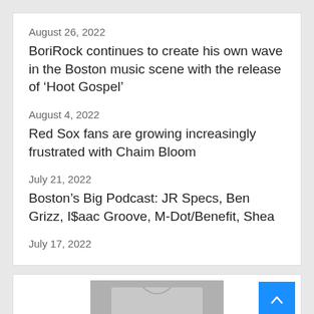August 26, 2022
BoriRock continues to create his own wave in the Boston music scene with the release of ‘Hoot Gospel’
August 4, 2022
Red Sox fans are growing increasingly frustrated with Chaim Bloom
July 21, 2022
Boston’s Big Podcast: JR Specs, Ben Grizz, I$aac Groove, M-Dot/Benefit, Shea
July 17, 2022
[Figure (photo): Person wearing a gray Boston's Big Four t-shirt, photo partially visible at bottom of page]